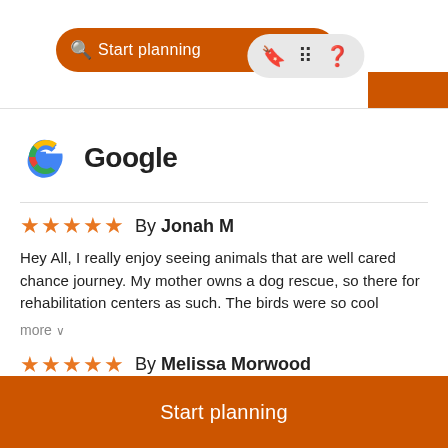[Figure (screenshot): Top navigation bar with orange search pill showing 'Start planning' text, bookmark and grid icons, and orange block at top right]
[Figure (logo): Google logo with colored G icon and 'Google' text]
★★★★★ By Jonah M
Hey All, I really enjoy seeing animals that are well cared chance journey. My mother owns a dog rescue, so there for rehabilitation centers as such. The birds were so cool
more ∨
★★★★★ By Melissa Morwood
This little center is a bit out of the way, but definitely wo are really passionate about the centers. They have a gi
Start planning